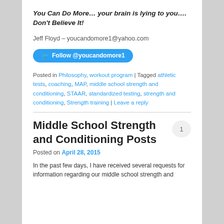You Can Do More… your brain is lying to you…. Don't Believe It!
Jeff Floyd – youcandomore1@yahoo.com
[Figure (other): Twitter follow button: Follow @youcandomore1]
Posted in Philosophy, workout program | Tagged athletic tests, coaching, MAP, middle school strength and conditioning, STAAR, standardized testing, strength and conditioning, Strength training | Leave a reply
Middle School Strength and Conditioning Posts
Posted on April 28, 2015
In the past few days, I have received several requests for information regarding our middle school strength and